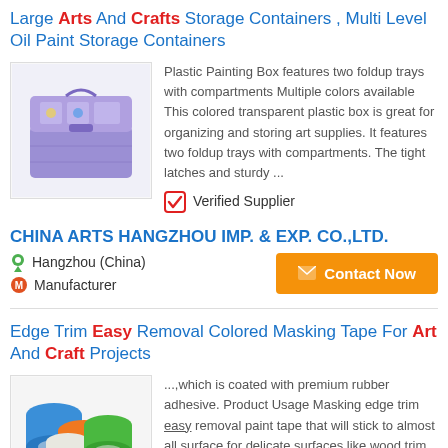Large Arts And Crafts Storage Containers , Multi Level Oil Paint Storage Containers
[Figure (photo): Purple plastic painting/storage box with folding trays]
Plastic Painting Box features two foldup trays with compartments Multiple colors available This colored transparent plastic box is great for organizing and storing art supplies. It features two foldup trays with compartments. The tight latches and sturdy ...
✔ Verified Supplier
CHINA ARTS HANGZHOU IMP. & EXP. CO.,LTD.
Hangzhou (China)
Manufacturer
Edge Trim Easy Removal Colored Masking Tape For Art And Craft Projects
[Figure (photo): Rolls of colorful masking tape in blue, orange, white, green colors]
...,which is coated with premium rubber adhesive. Product Usage Masking edge trim easy removal paint tape that will stick to almost all surface,for delicate surfaces like wood trim, textured walls, smooth surfaces, porcelain.